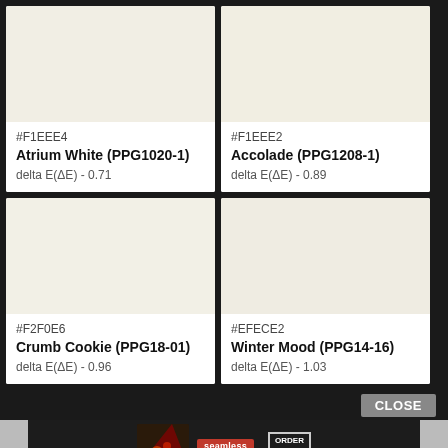[Figure (other): Paint color swatch: Atrium White, hex #F1EEE4, off-white warm tone]
#F1EEE4
Atrium White (PPG1020-1)
delta E(ΔE) - 0.71
[Figure (other): Paint color swatch: Accolade, hex #F1EEE2, off-white warm tone]
#F1EEE2
Accolade (PPG1208-1)
delta E(ΔE) - 0.89
[Figure (other): Paint color swatch: Crumb Cookie, hex #F2F0E6, off-white warm tone]
#F2F0E6
Crumb Cookie (PPG18-01)
delta E(ΔE) - 0.96
[Figure (other): Paint color swatch: Winter Mood, hex #EFECE2, off-white cool tone]
#EFECE2
Winter Mood (PPG14-16)
delta E(ΔE) - 1.03
CLOSE
[Figure (other): Seamless food delivery advertisement banner with pizza image and ORDER NOW button]